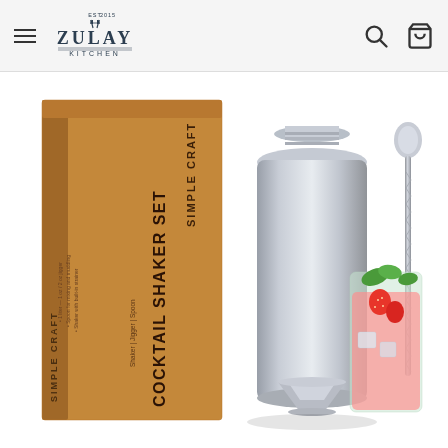Zulay Kitchen - navigation header with hamburger menu, logo, search and cart icons
[Figure (photo): Product photo of Simple Craft Cocktail Shaker Set including a stainless steel cocktail shaker, jigger, and bar spoon, displayed next to the kraft cardboard box packaging. A colorful cocktail drink with fresh fruit and mint is visible in the background right.]